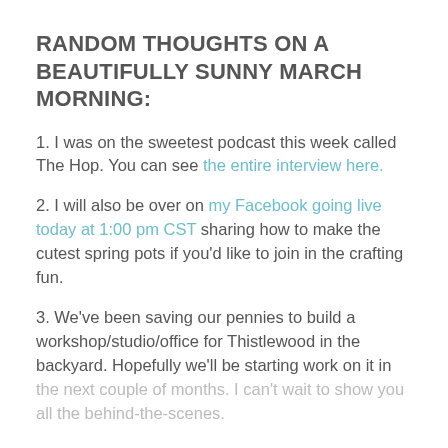RANDOM THOUGHTS ON A BEAUTIFULLY SUNNY MARCH MORNING:
1. I was on the sweetest podcast this week called The Hop. You can see the entire interview here.
2. I will also be over on my Facebook going live today at 1:00 pm CST sharing how to make the cutest spring pots if you'd like to join in the crafting fun.
3. We've been saving our pennies to build a workshop/studio/office for Thistlewood in the backyard. Hopefully we'll be starting work on it in the next couple of months. I can't wait to show you all the behind-the-scenes.